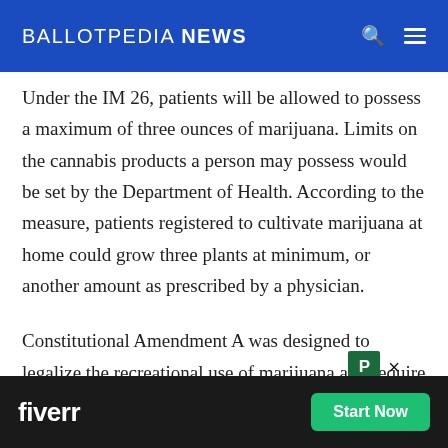BALLOTPEDIA NEWS
Under the IM 26, patients will be allowed to possess a maximum of three ounces of marijuana. Limits on the cannabis products a person may possess would be set by the Department of Health. According to the measure, patients registered to cultivate marijuana at home could grow three plants at minimum, or another amount as prescribed by a physician.
Constitutional Amendment A was designed to legalize the recreational use of marijuana and require t South ing for t p
[Figure (screenshot): Fiverr advertisement overlay banner at the bottom of the page with 'fiverr' logo in white on dark background and green 'Start Now' button. A small green 'P' icon with an 'x' close button appears above the banner.]